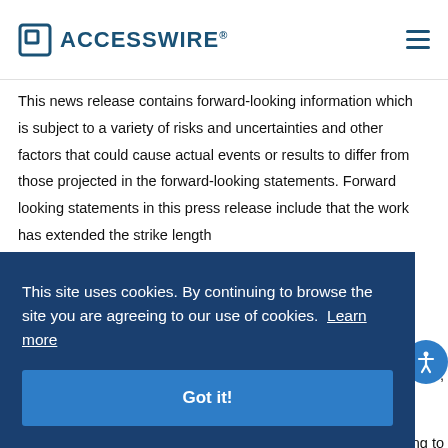ACCESSWIRE
This news release contains forward-looking information which is subject to a variety of risks and uncertainties and other factors that could cause actual events or results to differ from those projected in the forward-looking statements. Forward looking statements in this press release include that the work has extended the strike length
This site uses cookies. By continuing to browse the site you are agreeing to our use of cookies. Learn more
Got it!